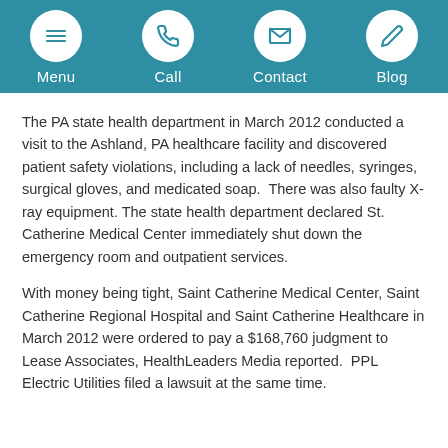Menu | Call | Contact | Blog
The PA state health department in March 2012 conducted a visit to the Ashland, PA healthcare facility and discovered patient safety violations, including a lack of needles, syringes, surgical gloves, and medicated soap.  There was also faulty X-ray equipment. The state health department declared St. Catherine Medical Center immediately shut down the emergency room and outpatient services.
With money being tight, Saint Catherine Medical Center, Saint Catherine Regional Hospital and Saint Catherine Healthcare in March 2012 were ordered to pay a $168,760 judgment to Lease Associates, HealthLeaders Media reported.  PPL Electric Utilities filed a lawsuit at the same time.